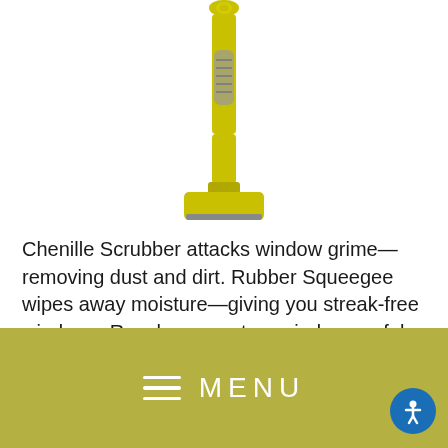[Figure (photo): Yellow squeegee/scrubber tool shown vertically, partially cropped at top of page]
Chenille Scrubber attacks window grime—removing dust and dirt. Rubber Squeegee wipes away moisture—giving you streak-free windows. Reach upper-story windows safely fro the ground. Every Squeegee/Scrubber comes packed with three blade options for different sized windows: 10", 12", and 14".
[Figure (screenshot): Olive/khaki colored navigation menu bar with hamburger icon and MENU text, plus blue accessibility button]